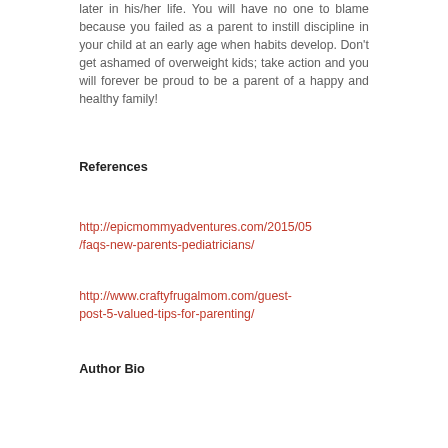later in his/her life. You will have no one to blame because you failed as a parent to instill discipline in your child at an early age when habits develop. Don't get ashamed of overweight kids; take action and you will forever be proud to be a parent of a happy and healthy family!
References
http://epicmommyadventures.com/2015/05/faqs-new-parents-pediatricians/
http://www.craftyfrugalmom.com/guest-post-5-valued-tips-for-parenting/
Author Bio